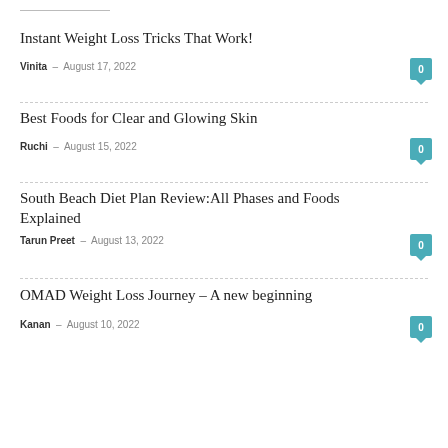Instant Weight Loss Tricks That Work!
Vinita - August 17, 2022
Best Foods for Clear and Glowing Skin
Ruchi - August 15, 2022
South Beach Diet Plan Review:All Phases and Foods Explained
Tarun Preet - August 13, 2022
OMAD Weight Loss Journey – A new beginning
Kanan - August 10, 2022